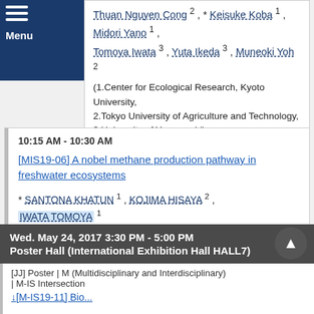Thuan Nguyen Cong 2, * Keisuke Koba 1, Midori Yano 1, Tomoya Iwata 3, Yuta Ikeda 3, Muneoki Yoh 2
(1.Center for Ecological Research, Kyoto University, 2.Tokyo University of Agriculture and Technology, 3.University of Yamanashi)
10:15 AM - 10:30 AM
[MIS19-06] A nobel methane production pathway in freshwater ecosystems
* SANTONA KHATUN 1, KOJIMA HISAYA 2, IWATA TOMOYA 1
(1.Interdisciplinary Graduate School of Medicine and Engineering, University of Yamanashi, 2.Institute of low temperature science, Hokkaido University)
Wed. May 24, 2017 3:30 PM - 5:00 PM
Poster Hall (International Exhibition Hall HALL7)
[JJ] Poster | M (Multidisciplinary and Interdisciplinary) | M-IS Intersection
[M-IS19-11] Bio...